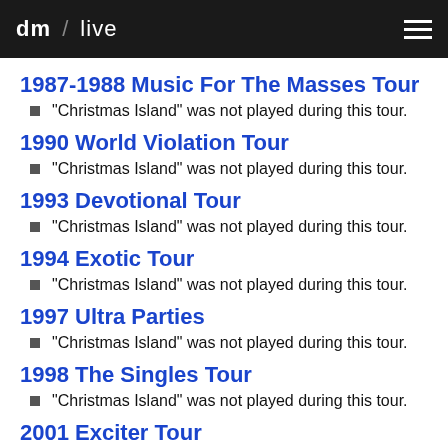dm / live
1987-1988 Music For The Masses Tour
"Christmas Island" was not played during this tour.
1990 World Violation Tour
"Christmas Island" was not played during this tour.
1993 Devotional Tour
"Christmas Island" was not played during this tour.
1994 Exotic Tour
"Christmas Island" was not played during this tour.
1997 Ultra Parties
"Christmas Island" was not played during this tour.
1998 The Singles Tour
"Christmas Island" was not played during this tour.
2001 Exciter Tour
"Christmas Island" was not played during this tour.